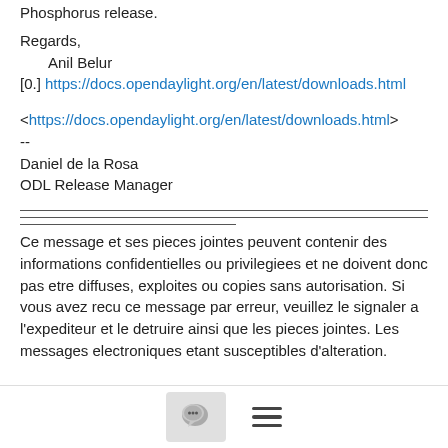Phosphorus release.
Regards,
    Anil Belur
[0.] https://docs.opendaylight.org/en/latest/downloads.html
<https://docs.opendaylight.org/en/latest/downloads.html>
--
Daniel de la Rosa
ODL Release Manager
Ce message et ses pieces jointes peuvent contenir des informations confidentielles ou privilegiees et ne doivent donc
pas etre diffuses, exploites ou copies sans autorisation. Si vous avez recu ce message par erreur, veuillez le signaler a l'expediteur et le detruire ainsi que les pieces jointes. Les messages electroniques etant susceptibles d'alteration.